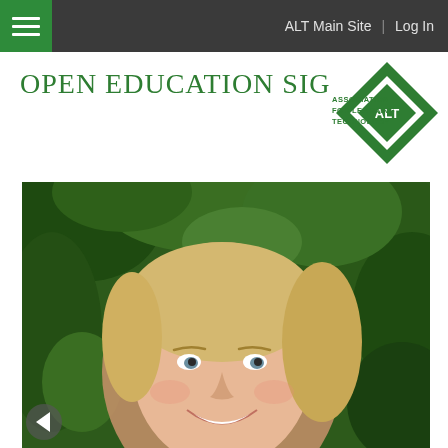ALT Main Site | Log In
Open Education SIG
[Figure (logo): Association for Learning Technology (ALT) diamond-shaped logo with green background and white ALT text]
[Figure (photo): Portrait photo of a smiling blonde woman outdoors with green foliage in the background]